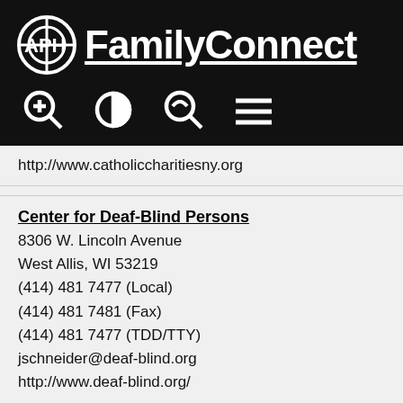APH FamilyConnect
http://www.catholiccharitiesny.org
Center for Deaf-Blind Persons
8306 W. Lincoln Avenue
West Allis, WI 53219
(414) 481 7477 (Local)
(414) 481 7481 (Fax)
(414) 481 7477 (TDD/TTY)
jschneider@deaf-blind.org
http://www.deaf-blind.org/
Center for Independence